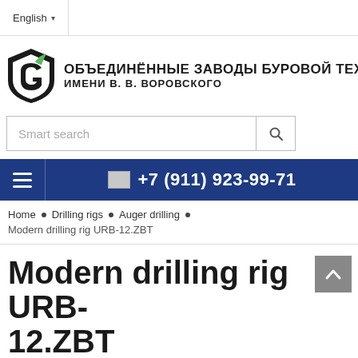English
[Figure (logo): Shield/hexagon logo with green checkmark leaf, company name: ОБЪЕДИНЁННЫЕ ЗАВОДЫ БУРОВОЙ ТЕХНИКИ ИМЕНИ В. В. ВОРОВСКОГО]
Smart search
+7 (911) 923-99-71
Home • Drilling rigs • Auger drilling • Modern drilling rig URB-12.ZBT
Modern drilling rig URB-12.ZBT